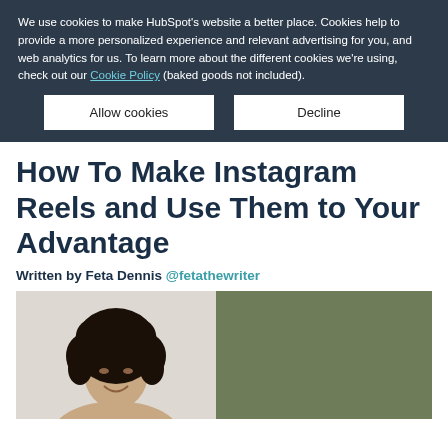We use cookies to make HubSpot's website a better place. Cookies help to provide a more personalized experience and relevant advertising for you, and web analytics for us. To learn more about the different cookies we're using, check out our Cookie Policy (baked goods not included).
Allow cookies | Decline
How To Make Instagram Reels and Use Them to Your Advantage
Written by Feta Dennis @fetathewriter
[Figure (photo): Photo of a woman with curly hair smiling, split into two panels — left panel shows the person on a light neutral background, right panel is an olive/sage green color block]